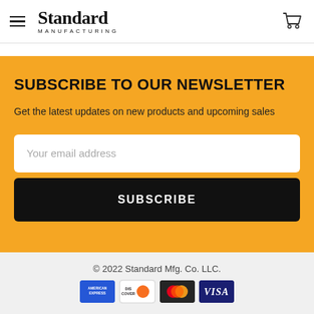Standard Manufacturing
SUBSCRIBE TO OUR NEWSLETTER
Get the latest updates on new products and upcoming sales
Your email address
SUBSCRIBE
© 2022 Standard Mfg. Co. LLC.